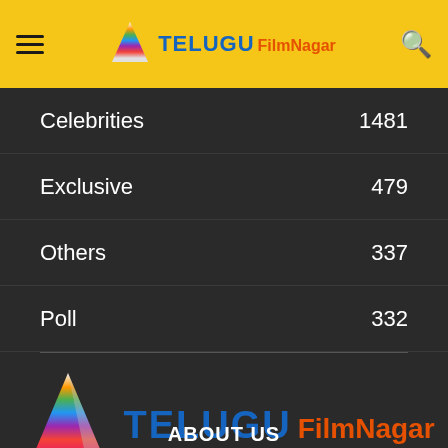Telugu FilmNagar
Celebrities 1481
Exclusive 479
Others 337
Poll 332
[Figure (logo): Telugu FilmNagar logo with colorful cone/play-button icon]
ABOUT US